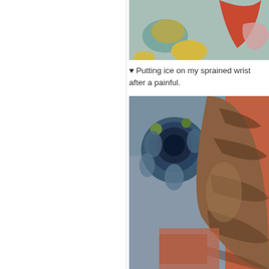[Figure (photo): Colorful abstract fabric or wallpaper with teal background and orange/red, yellow, and pink leaf/oval shapes]
♥ Putting ice on my sprained wrist after a painful.
[Figure (photo): Close-up photo of a tabby cat resting on a crocheted blanket with blue floral pattern and orange fabric]